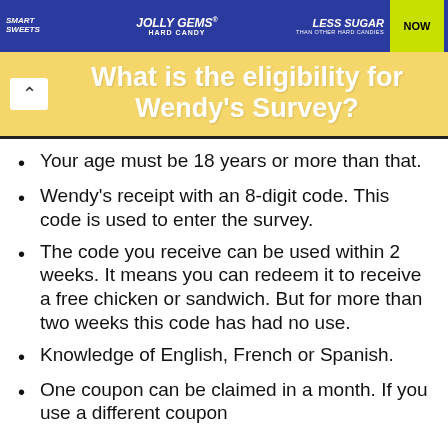[Figure (other): Advertisement banner for Smart Sweets Jolly Gems Hard Candy - Less Sugar Than Other Hard Candies - NOW button]
What is the eligibility for Wendy's Survey?
Your age must be 18 years or more than that.
Wendy's receipt with an 8-digit code. This code is used to enter the survey.
The code you receive can be used within 2 weeks. It means you can redeem it to receive a free chicken or sandwich. But for more than two weeks this code has had no use.
Knowledge of English, French or Spanish.
One coupon can be claimed in a month. If you use a different coupon